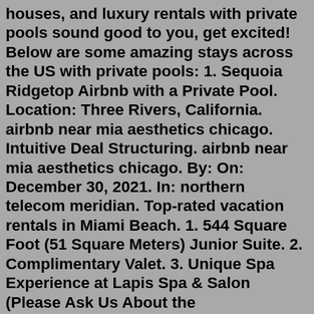houses, and luxury rentals with private pools sound good to you, get excited! Below are some amazing stays across the US with private pools: 1. Sequoia Ridgetop Airbnb with a Private Pool. Location: Three Rivers, California. airbnb near mia aesthetics chicago. Intuitive Deal Structuring. airbnb near mia aesthetics chicago. By: On: December 30, 2021. In: northern telecom meridian. Top-rated vacation rentals in Miami Beach. 1. 544 Square Foot (51 Square Meters) Junior Suite. 2. Complimentary Valet. 3. Unique Spa Experience at Lapis Spa & Salon (Please Ask Us About the Complimentary Spa Passes Upon Your Arrival) 4. Direct Access to Beach From the Hotel. 5. Sanitizing Areas. Show @mia_aesthetics_atlanta Stories. 1408. Mia Babes, you're not going to want to miss our Early Black Friday Special! You can get 10% off any of our surgical ... situated in the old part of the city, this historic place is steps to the beach, europe square, piazza and the cities best cafés and restaurants. it's a